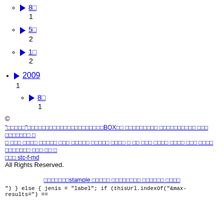▶ 8□ 1
▶ 5□ 2
▶ 1□ 2
▶ 2009 1
▶ 8□ 1
© "□□□□□"□□□□□□□□□□□□□□□□□□□□□BOX□□ □□□□□□□□□ □□□□□□□□□□ □□□ □□□□□□□ □ □ □□□ □□□□ □□□□□ □□□ □□□□□ □□□□□ □□□□ □ □□ □□□ □□□□ □□□□ □□□ □□□□ □□□□□□□ □□□ □□ □ □□□ stc-f-md All Rights Reserved.
□□□□□□□stample □□□□□ □□□□□□□□ □□□□□□ □□□□
") } else { jenis = "label"; if (thisUrl.indexOf("&max-results=") ==